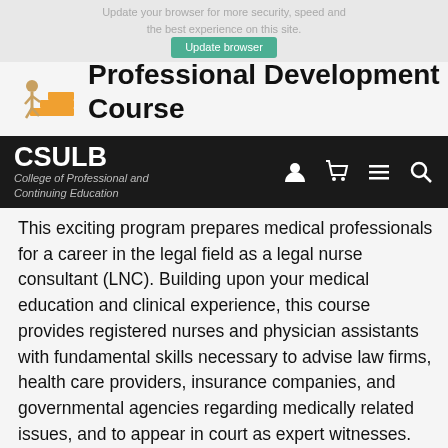Update your browser for more security, speed and the best experience on this site.
[Figure (logo): CSULB College of Professional and Continuing Education logo with person climbing stairs icon]
Professional Development Course
This exciting program prepares medical professionals for a career in the legal field as a legal nurse consultant (LNC). Building upon your medical education and clinical experience, this course provides registered nurses and physician assistants with fundamental skills necessary to advise law firms, health care providers, insurance companies, and governmental agencies regarding medically related issues, and to appear in court as expert witnesses. The course teaches legal concepts related to the health care industry, as well as the role a legal nurse consultant might play in litigation areas such as medical malpractice, toxic torts, product liability, personal injury, wrongful death, criminal law, and workers' compensation. Any RN or PA interested in entering the legal field can